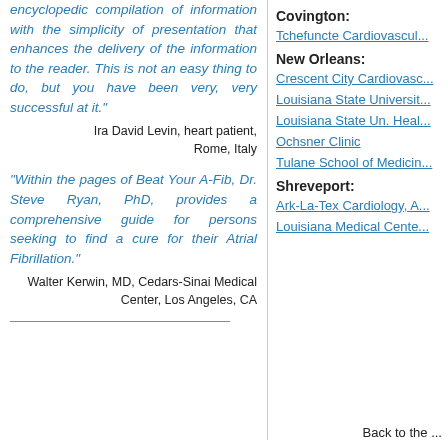encyclopedic compilation of information with the simplicity of presentation that enhances the delivery of the information to the reader. This is not an easy thing to do, but you have been very, very successful at it."
Ira David Levin, heart patient, Rome, Italy
"Within the pages of Beat Your A-Fib, Dr. Steve Ryan, PhD, provides a comprehensive guide for persons seeking to find a cure for their Atrial Fibrillation."
Walter Kerwin, MD, Cedars-Sinai Medical Center, Los Angeles, CA
Covington:
Tchefuncte Cardiovascul...
New Orleans:
Crescent City Cardiovasc...
Louisiana State Universit...
Louisiana State Un. Heal...
Ochsner Clinic
Tulane School of Medicin...
Shreveport:
Ark-La-Tex Cardiology, A...
Louisiana Medical Cente...
Back to the ...